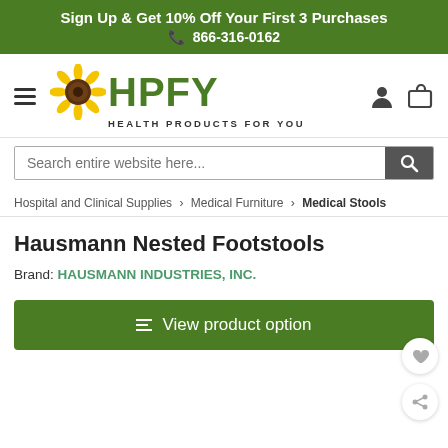Sign Up & Get 10% Off Your First 3 Purchases
☎ 866-316-0162
[Figure (logo): HPFY Health Products For You logo with sunflower]
Search entire website here...
Hospital and Clinical Supplies > Medical Furniture > Medical Stools
Hausmann Nested Footstools
Brand: HAUSMANN INDUSTRIES, INC.
View product option